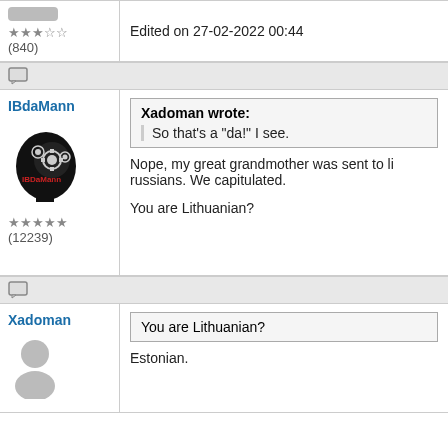Edited on 27-02-2022 00:44
★★★☆☆ (840)
IBdaMann
[Figure (illustration): IBDaMann avatar: black silhouette of a head with gear/cog icons inside, red text 'IBDaMann']
★★★★★ (12239)
Xadoman wrote: So that's a "da!" I see.
Nope, my great grandmother was sent to li... russians. We capitulated.
You are Lithuanian?
Xadoman
You are Lithuanian?
Estonian.